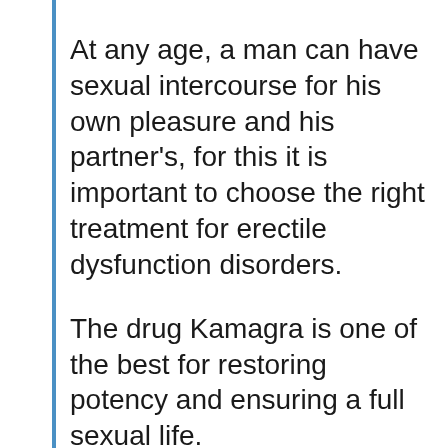At any age, a man can have sexual intercourse for his own pleasure and his partner's, for this it is important to choose the right treatment for erectile dysfunction disorders.
The drug Kamagra is one of the best for restoring potency and ensuring a full sexual life.
Kamagra is considered one of the most popular analogues of Viagra, and European men prefer Kamagra because of the affordability of the price combined with an enchanting effect.
Reasons to choose Generic Kamagra: